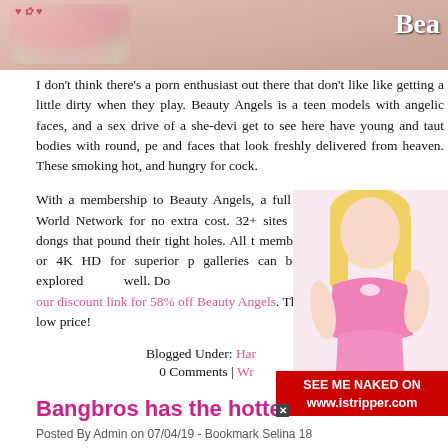[Figure (photo): Partial top image showing floral clothing and skin, with 'Bea' text overlay in top right corner]
I don't think there's a porn enthusiast out there that don't like getting a little dirty when they play. Beauty Angels is a teen models with angelic faces, and a sex drive of a she-devi get to see here have young and taut bodies with round, pe and faces that look freshly delivered from heaven. These smoking hot, and hungry for cock.
With a membership to Beauty Angels, a full access pass is Teen Mega World Network for no extra cost. 32+ sites chock get fucked by huge dongs that pound their tight holes. All t membership are either 1080p HD or 4K HD for superior p galleries can be saved as zip files and explored well. Do our discount link for 58% off Beauty Angels. Tha whole lo low price!
Blogged Under: Hardcore Teens
0 Comments | Write a Comment
[Figure (photo): Blonde model in pink lingerie]
[Figure (other): SEE ME NAKED ON www.istripper.com advertisement banner]
Bangbros has the hottest la
Posted By Admin on 07/04/19 - Bookmark Selina 18